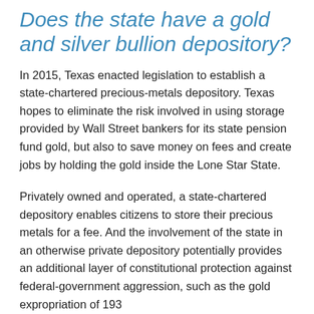Does the state have a gold and silver bullion depository?
In 2015, Texas enacted legislation to establish a state-chartered precious-metals depository. Texas hopes to eliminate the risk involved in using storage provided by Wall Street bankers for its state pension fund gold, but also to save money on fees and create jobs by holding the gold inside the Lone Star State.
Privately owned and operated, a state-chartered depository enables citizens to store their precious metals for a fee. And the involvement of the state in an otherwise private depository potentially provides an additional layer of constitutional protection against federal-government aggression, such as the gold expropriation of 193...
Using a depository account, citizens could also engage in transactions using gold and silver electronically. An...